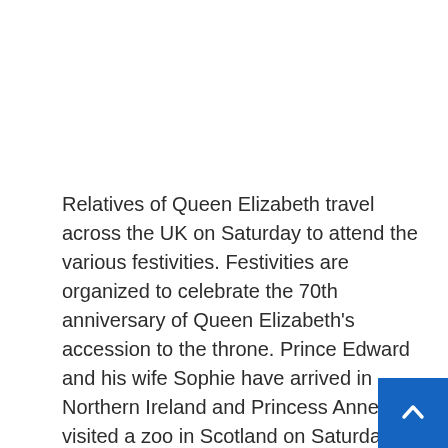Relatives of Queen Elizabeth travel across the UK on Saturday to attend the various festivities. Festivities are organized to celebrate the 70th anniversary of Queen Elizabeth's accession to the throne. Prince Edward and his wife Sophie have arrived in Northern Ireland and Princess Anne visited a zoo in Scotland on Saturday morning.
Prince George, 8, and Princess Charlotte, 7, are in Wales with their parents, Prince William and Catherine, to celebrate their platinum birthday.